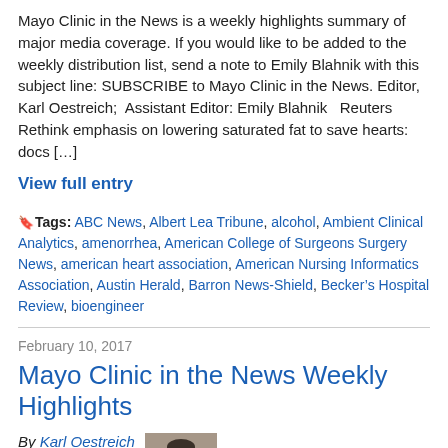Mayo Clinic in the News is a weekly highlights summary of major media coverage. If you would like to be added to the weekly distribution list, send a note to Emily Blahnik with this subject line: SUBSCRIBE to Mayo Clinic in the News. Editor, Karl Oestreich;  Assistant Editor: Emily Blahnik   Reuters Rethink emphasis on lowering saturated fat to save hearts: docs […]
View full entry
Tags: ABC News, Albert Lea Tribune, alcohol, Ambient Clinical Analytics, amenorrhea, American College of Surgeons Surgery News, american heart association, American Nursing Informatics Association, Austin Herald, Barron News-Shield, Becker's Hospital Review, bioengineer
February 10, 2017
Mayo Clinic in the News Weekly Highlights
By Karl Oestreich
[Figure (photo): Black and white portrait photo of Karl Oestreich, a man in a suit]
Mayo Clinic in the News is a weekly highlights summary of major media coverage. If you would like to be added to the weekly distribution list, send a note to Emily Blahnik with this subject line: